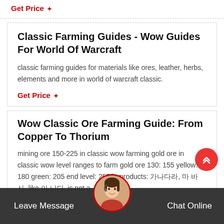Get Price ✦
Classic Farming Guides - Wow Guides For World Of Warcraft
classic farming guides for materials like ores, leather, herbs, elements and more in world of warcraft classic.
Get Price ✦
Wow Classic Ore Farming Guide: From Copper To Thorium
mining ore 150-225 in classic wow farming gold ore in classic wow level ranges to farm gold ore 130: 155 yellow: 180 green: 205 end level: 255 byproducts: 가나다라, 마 바사, like 아 나다, is not a
Leave Message   Chat Online